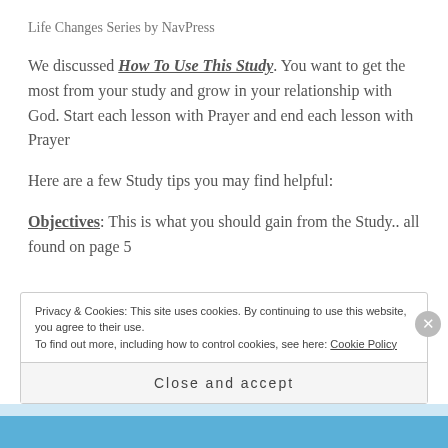Life Changes Series by NavPress
We discussed How To Use This Study. You want to get the most from your study and grow in your relationship with God. Start each lesson with Prayer and end each lesson with Prayer
Here are a few Study tips you may find helpful:
Objectives: This is what you should gain from the Study.. all found on page 5
Privacy & Cookies: This site uses cookies. By continuing to use this website, you agree to their use. To find out more, including how to control cookies, see here: Cookie Policy
Close and accept